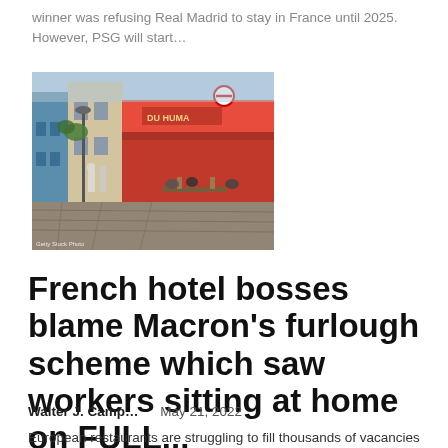winner was refusing Real Madrid to stay in France until 2025. However, PSG will start…
[Figure (photo): Street scene of a French town with a red-awninged café and cobblestone street with people walking and dining outside]
French hotel bosses blame Macron's furlough scheme which saw workers sitting at home on FULL...
Walter J. Camp…   May 21, 2022
European restaurants are struggling to fill thousands of vacancies